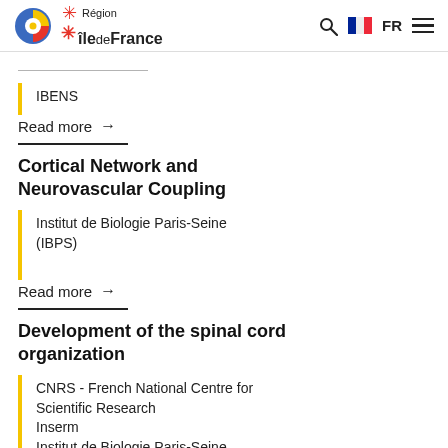Région île de France
IBENS
Read more →
Cortical Network and Neurovascular Coupling
Institut de Biologie Paris-Seine (IBPS)
Read more →
Development of the spinal cord organization
CNRS - French National Centre for Scientific Research
Inserm
Institut de Biologie Paris-Seine